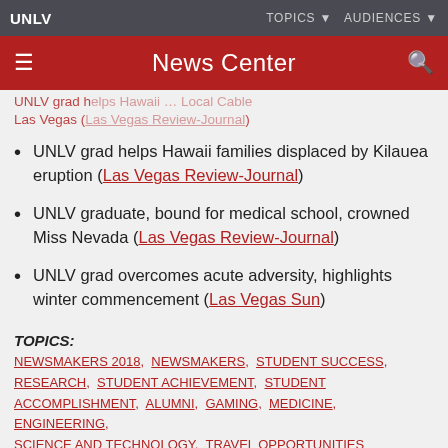UNLV    TOPICS ▼    AUDIENCES ▼
News Center
UNLV grad helps Hawaii families displaced by Kilauea eruption (Las Vegas Review-Journal)
UNLV graduate, bound for medical school, crowned Miss Nevada (Las Vegas Review-Journal)
UNLV grad overcomes acute adversity, highlights winter commencement (Las Vegas Sun)
TOPICS:
NEWSMAKERS 2018, NEWSMAKERS, STUDENT SUCCESS, RESEARCH, STUDENT ACHIEVEMENT, STUDENT ACCOMPLISHMENT, ALUMNI, GAMING, MEDICINE, ENGINEERING, SCIENCE AND TECHNOLOGY, TRAVEL OPPORTUNITIES